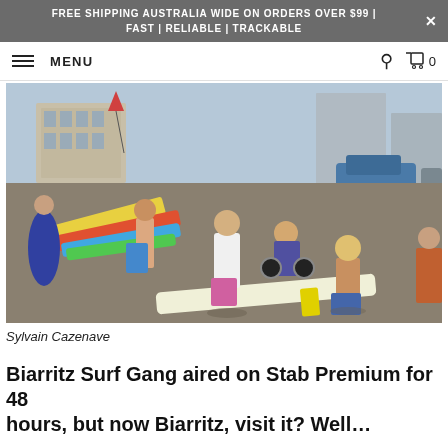FREE SHIPPING AUSTRALIA WIDE ON ORDERS OVER $99 | FAST | RELIABLE | TRACKABLE
MENU
[Figure (photo): Outdoor scene of surfers and people gathered near surfboards on a promenade or beachside area. Colorful surfboards are laid out on the ground. People in swimwear and casual clothes are visible. Buildings and parked cars in the background. Sunny day.]
Sylvain Cazenave
Biarritz Surf Gang aired on Stab Premium for 48 hours, but now Biarritz, visit it? Well…